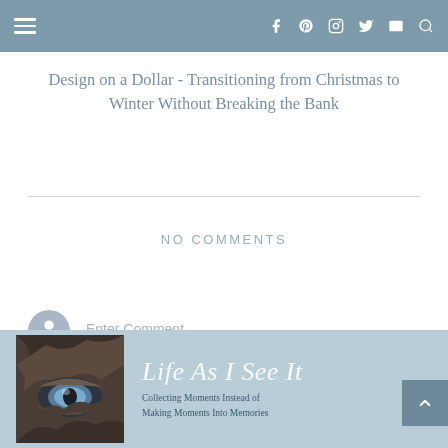Navigation header with hamburger menu and social icons: f, Pinterest, Instagram, Twitter, mail, search
Design on a Dollar - Transitioning from Christmas to Winter Without Breaking the Bank
NO COMMENTS
Enter Comment
[Figure (illustration): Footer banner with light blue background, animal eye close-up photo on left, script text 'Life As I See It' and tagline 'Collecting Moments Instead of Making Moments Into Memories']